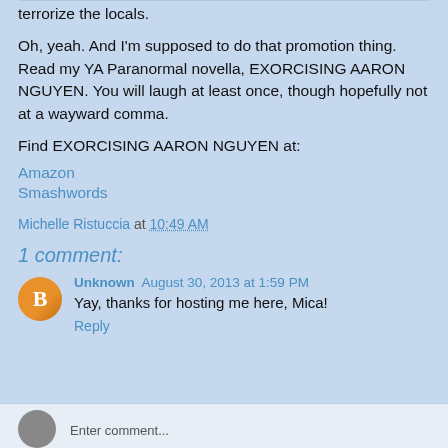terrorize the locals.
Oh, yeah. And I'm supposed to do that promotion thing. Read my YA Paranormal novella, EXORCISING AARON NGUYEN. You will laugh at least once, though hopefully not at a wayward comma.
Find EXORCISING AARON NGUYEN at:
Amazon
Smashwords
Michelle Ristuccia at 10:49 AM
1 comment:
Unknown August 30, 2013 at 1:59 PM
Yay, thanks for hosting me here, Mica!
Reply